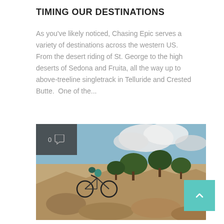TIMING OUR DESTINATIONS
As you've likely noticed, Chasing Epic serves a variety of destinations across the western US.  From the desert riding of St. George to the high deserts of Sedona and Fruita, all the way up to above-treeline singletrack in Telluride and Crested Butte.  One of the...
[Figure (photo): Mountain biker riding on rocky desert trail with scrub trees and blue sky in background. A dark overlay box in top-left corner shows a comment count of 0 with a speech bubble icon.]